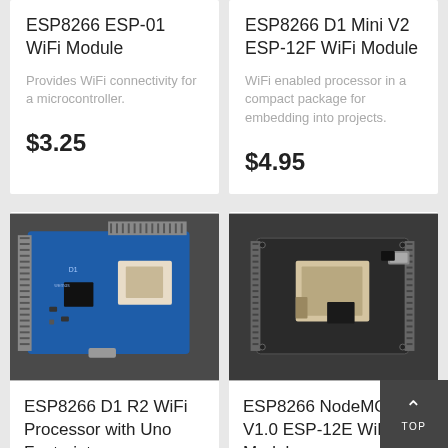ESP8266 ESP-01 WiFi Module
Provides WiFi connectivity for a microcontroller.
$3.25
ESP8266 D1 Mini V2 ESP-12F WiFi Module
WiFi enabled processor in a compact package for embedding into projects.
$4.95
[Figure (photo): ESP8266 D1 R2 WiFi Processor with Uno Footprint — blue Arduino-form-factor board with ESP8266 module and pin headers]
ESP8266 D1 R2 WiFi Processor with Uno Footprint
80MHz 32-bit WiFi enabled
[Figure (photo): ESP8266 NodeMCU V1.0 ESP-12E WiFi Module — black NodeMCU board with ESP module and USB connector]
ESP8266 NodeMCU V1.0 ESP-12E WiFi Module
Complete WiFi enabled